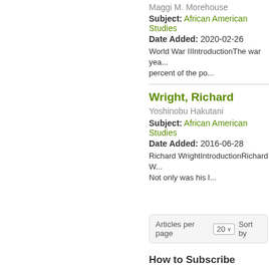Maggi M. Morehouse
Subject: African American Studies
Date Added: 2020-02-26
World War IIIntroductionThe war yea... percent of the po...
Wright, Richard
Yoshinobu Hakutani
Subject: African American Studies
Date Added: 2016-06-28
Richard WrightIntroductionRichard W... Not only was his l...
Articles per page  20  Sort by
How to Subscribe
Oxford Bibliographies Online is available... Sales Representative click here.